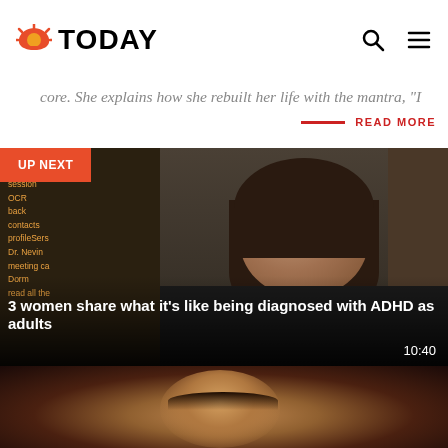TODAY
core. She explains how she rebuilt her life with the mantra, "I
READ MORE
[Figure (photo): Video thumbnail showing a woman smiling in front of a whiteboard with handwritten notes, UP NEXT badge in top left corner, with title '3 women share what it's like being diagnosed with ADHD as adults' and duration 10:40]
[Figure (photo): Video thumbnail showing a close-up of a woman's face with dramatic eye makeup and orange-tinted hair]